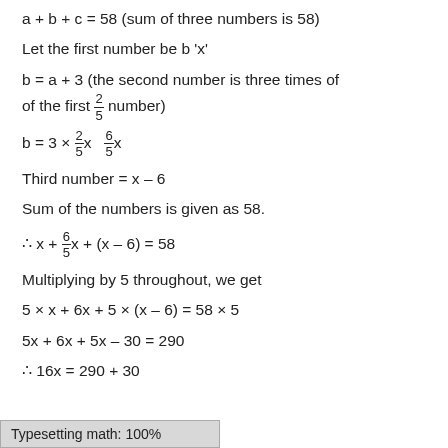a + b + c = 58 (sum of three numbers is 58)
Let the first number be b 'x'
b = a + 3 (the second number is three times of of the first 2/5 number)
Third number = x – 6
Sum of the numbers is given as 58.
Multiplying by 5 throughout, we get
Typesetting math: 100%